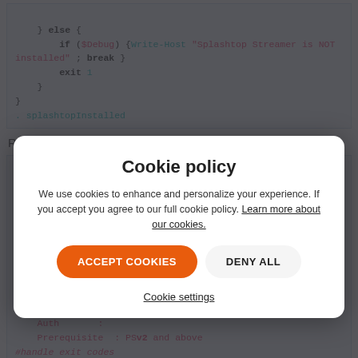[Figure (screenshot): Code block showing PowerShell script snippet with else/if/exit/splashtopInstalled logic]
Remediation Code:
[Figure (screenshot): Code block showing PowerShell remediation script with #REQUIRES -Version 2.0, .SYNOPSIS, .DESCRIPTION, .NOTES, #handle exit codes sections]
Cookie policy
We use cookies to enhance and personalize your experience. If you accept you agree to our full cookie policy. Learn more about our cookies.
[ACCEPT COOKIES] [DENY ALL]
Cookie settings